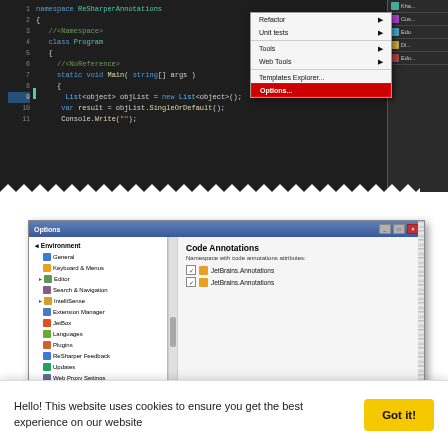[Figure (screenshot): IDE screenshot showing C# code editor with context menu open, 'Options...' item highlighted in red, and a right panel with icons.]
[Figure (screenshot): ReSharper Options dialog showing the Code Annotations settings page with checkboxes for 'JetBrains.Annotations' and 'JetBrains.Annotations', a 'Copy default implementation to clipboard' button highlighted in red, and 'Default annotation namespace' field showing 'JetBrains.Annotations'.]
Hello! This website uses cookies to ensure you get the best experience on our website
Got it!